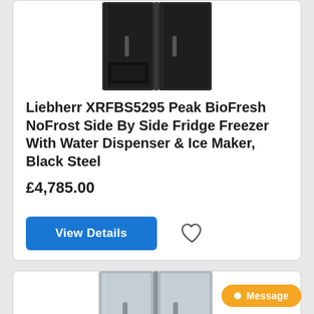[Figure (photo): Black steel side-by-side fridge freezer (Liebherr XRFBS5295) product photo, front view]
Liebherr XRFBS5295 Peak BioFresh NoFrost Side By Side Fridge Freezer With Water Dispenser & Ice Maker, Black Steel
£4,785.00
[Figure (photo): Silver/stainless steel side-by-side fridge freezer product photo, front view (second product listing)]